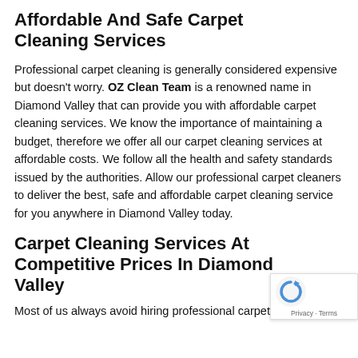Affordable And Safe Carpet Cleaning Services
Professional carpet cleaning is generally considered expensive but doesn't worry. OZ Clean Team is a renowned name in Diamond Valley that can provide you with affordable carpet cleaning services. We know the importance of maintaining a budget, therefore we offer all our carpet cleaning services at affordable costs. We follow all the health and safety standards issued by the authorities. Allow our professional carpet cleaners to deliver the best, safe and affordable carpet cleaning service for you anywhere in Diamond Valley today.
Carpet Cleaning Services At Competitive Prices In Diamond Valley
Most of us always avoid hiring professional carpet cleaning